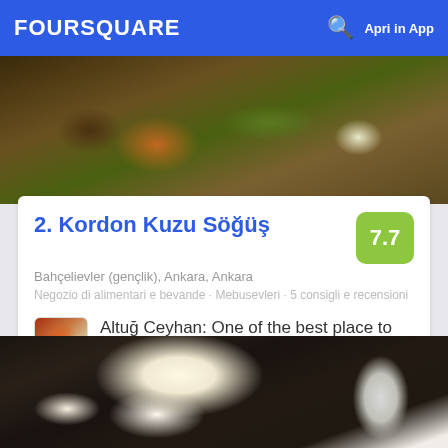FOURSQUARE  Apri in App
[Figure (photo): Food photo at top showing cooked vegetables and meat dishes]
2. Kordon Kuzu Söğüş
7.7
Bahçelievler (gençlik), Ankara, Ankara
Negozio di alimentari e bevande · Mebusevleri · 5 consigli e recensioni
Altuğ Ceyhan: One of the best place to eat cold cuts in Ankara
[Figure (photo): Food photo at bottom showing dark layered meat dish with melted white cheese on a white plate with a fork]